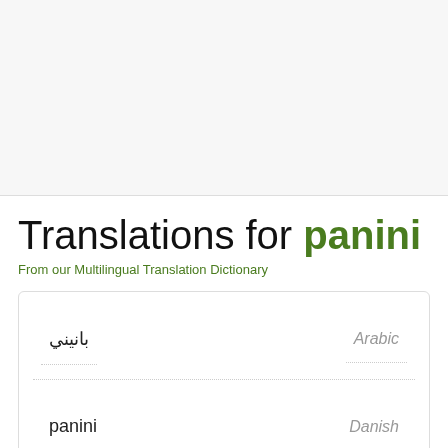Translations for panini
From our Multilingual Translation Dictionary
| Word | Language |
| --- | --- |
| بانيني | Arabic |
| panini | Danish |
| Panini | German |